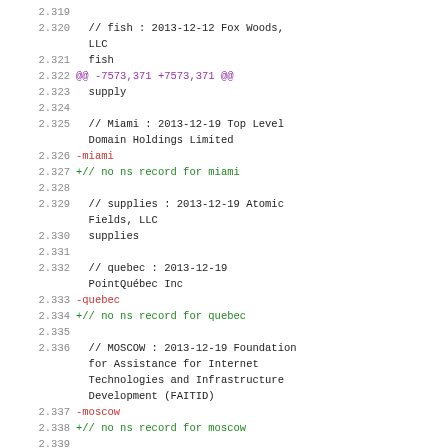2.319
2.320   // fish : 2013-12-12 Fox Woods, LLC
2.321    fish
2.322   @@ -7573,371 +7573,371 @@
2.323    supply
2.324
2.325   // Miami : 2013-12-19 Top Level Domain Holdings Limited
2.326   -miami
2.327   +// no ns record for miami
2.328
2.329   // supplies : 2013-12-19 Atomic Fields, LLC
2.330    supplies
2.331
2.332   // quebec : 2013-12-19 PointQuébec Inc
2.333   -quebec
2.334   +// no ns record for quebec
2.335
2.336   // MOSCOW : 2013-12-19 Foundation for Assistance for Internet Technologies and Infrastructure Development (FAITID)
2.337   -moscow
2.338   +// no ns record for moscow
2.339
2.340   // globo : 2013-12-19 Globo